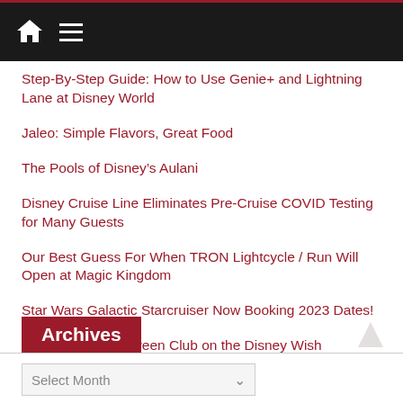[Navigation bar with home icon and menu icon]
Step-By-Step Guide: How to Use Genie+ and Lightning Lane at Disney World
Jaleo: Simple Flavors, Great Food
The Pools of Disney’s Aulani
Disney Cruise Line Eliminates Pre-Cruise COVID Testing for Many Guests
Our Best Guess For When TRON Lightcycle / Run Will Open at Magic Kingdom
Star Wars Galactic Starcruiser Now Booking 2023 Dates!
PHOTOS: Edge Tween Club on the Disney Wish
Archives
Select Month